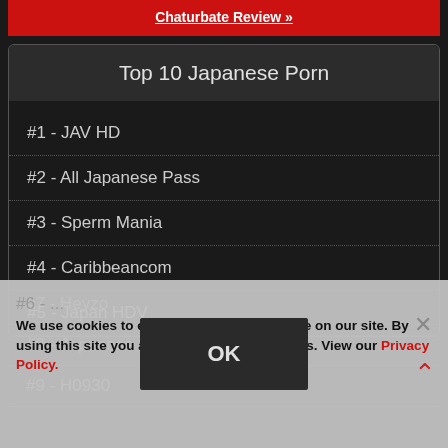[Figure (other): Red banner button with white underlined text 'Chaturbate Review »']
Top 10 Japanese Porn
#1 - JAV HD
#2 - All Japanese Pass
#3 - Sperm Mania
#4 - Caribbeancom
#5 - Japan HDV
#7 - Heyzo
#8 - Japanese Hardcore
#9 - H0930
We use cookies to ensure the best experience on our site. By using this site you agree to our use of cookies. View our Privacy Policy.